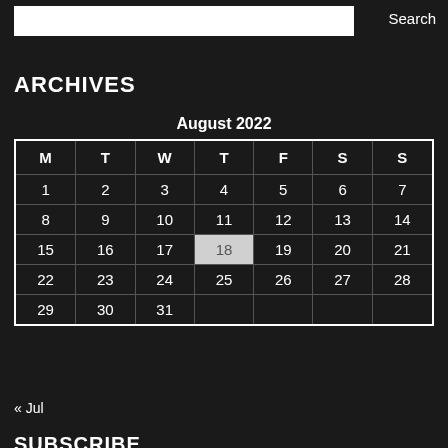Search
ARCHIVES
| M | T | W | T | F | S | S |
| --- | --- | --- | --- | --- | --- | --- |
| 1 | 2 | 3 | 4 | 5 | 6 | 7 |
| 8 | 9 | 10 | 11 | 12 | 13 | 14 |
| 15 | 16 | 17 | 18 | 19 | 20 | 21 |
| 22 | 23 | 24 | 25 | 26 | 27 | 28 |
| 29 | 30 | 31 |  |  |  |  |
« Jul